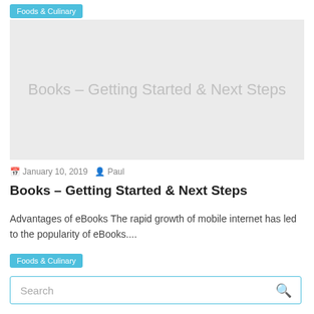Foods & Culinary
[Figure (other): Featured image placeholder with light gray background containing the text 'Books – Getting Started & Next Steps' in gray]
January 10, 2019   Paul
Books – Getting Started & Next Steps
Advantages of eBooks The rapid growth of mobile internet has led to the popularity of eBooks....
Foods & Culinary
Search